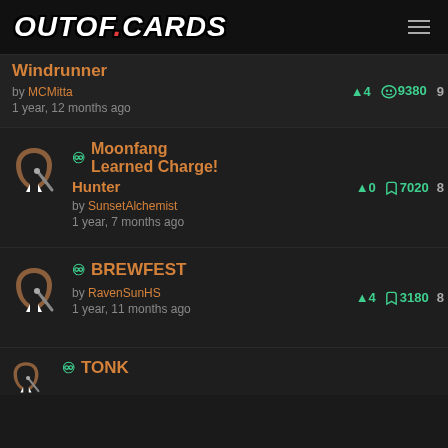OUTOF.CARDS
Windrunner by MCMitta 1 year, 12 months ago — votes: +4, views: 9380
Moonfang Learned Charge! Hunter by SunsetAlchemist 1 year, 7 months ago — votes: +0, views: 7020
BREWFEST by RavenSunHS 1 year, 11 months ago — votes: +4, views: 3180
TONK (partial)